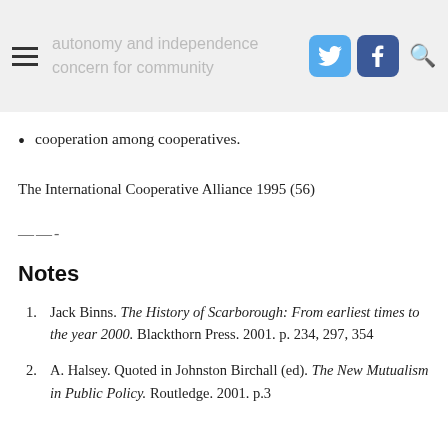autonomy and independence
concern for community
cooperation among cooperatives.
The International Cooperative Alliance 1995 (56)
——-
Notes
1. Jack Binns. The History of Scarborough: From earliest times to the year 2000. Blackthorn Press. 2001. p. 234, 297, 354
2. A. Halsey. Quoted in Johnston Birchall (ed). The New Mutualism in Public Policy. Routledge. 2001. p.3